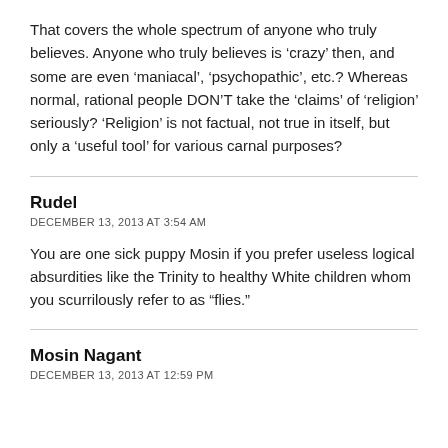That covers the whole spectrum of anyone who truly believes. Anyone who truly believes is ‘crazy’ then, and some are even ‘maniacal’, ‘psychopathic’, etc.? Whereas normal, rational people DON’T take the ‘claims’ of ‘religion’ seriously? ‘Religion’ is not factual, not true in itself, but only a ‘useful tool’ for various carnal purposes?
Rudel
DECEMBER 13, 2013 AT 3:54 AM
You are one sick puppy Mosin if you prefer useless logical absurdities like the Trinity to healthy White children whom you scurrilously refer to as “flies.”
Mosin Nagant
DECEMBER 13, 2013 AT 12:59 PM